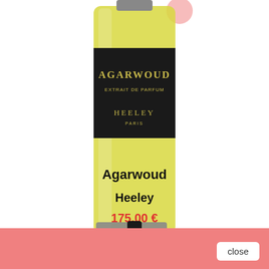[Figure (photo): Perfume bottle - Agarwoud Extrait de Parfum by Heeley Paris. Tall glass bottle with yellow liquid, black label with gold text, and two grey icon buttons (cart and heart) overlaid at the bottom.]
Agarwoud
Heeley
175,00 €
[Figure (photo): Partial view of a second smaller perfume bottle with black cap and yellow liquid, partially cropped at the bottom of the page.]
close